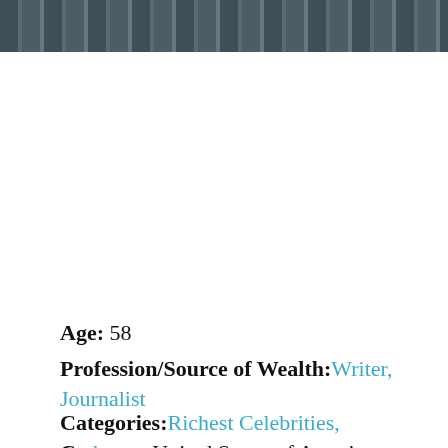[Figure (photo): Partial photograph showing a person in front of a brick wall background, cropped at top of page]
Age: 58
Profession/Source of Wealth: Writer, Journalist
Categories: Richest Celebrities, Authors
Country: United States of America